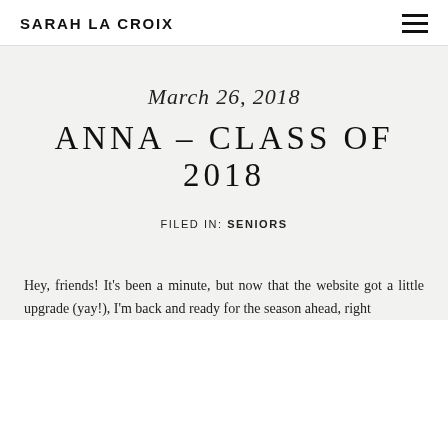SARAH LA CROIX
March 26, 2018
ANNA – CLASS OF 2018
FILED IN: SENIORS
Hey, friends! It's been a minute, but now that the website got a little upgrade (yay!), I'm back and ready for the season ahead, right